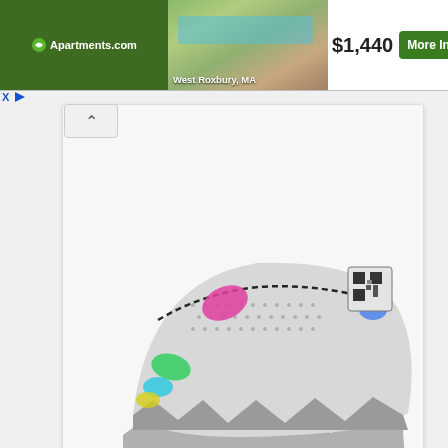[Figure (screenshot): Apartments.com advertisement banner showing a pool area property in West Roxbury, MA priced at $1,440 with More Info button]
[Figure (photo): Nike basketball shoe (LeBron-style) in grey/white colorway with multicolor accents including pink, green, yellow, and blue, black chain detail]
POINTS: 6
REBOUNDS: 13
ASSISTS: 3
STEALS:1
BLOCKS: 1
MINUTES: 49
AVG POINTS: 1.5
AVG REBOUNDS: 3.25
AVG ASSISTS:0.75
AVG STEALS: 0.25
AVG BLOCKS: 0.25
AVG MINUTES: 12.25
[Figure (screenshot): Points dropdown selector showing value 6 with the beginning of a line chart, with a blue line visible at bottom]